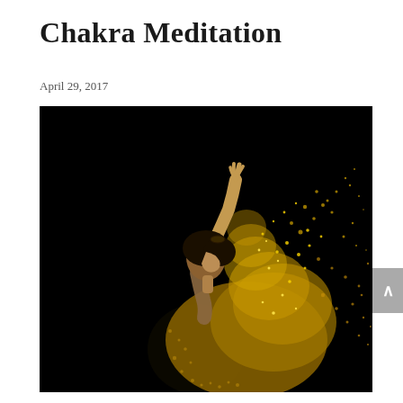Chakra Meditation
April 29, 2017
[Figure (photo): A woman with gold glitter/particles dispersing from her body and hair, arms raised, against a pure black background. The image has a dramatic, artistic quality with gold dust scattering around her silhouette.]